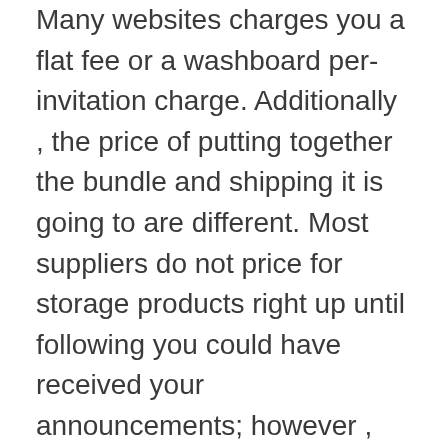Many websites charges you a flat fee or a washboard per-invitation charge. Additionally , the price of putting together the bundle and shipping it is going to are different. Most suppliers do not price for storage products right up until following you could have received your announcements; however , you might have to pay extra for saving a specific item depending on it is size.
Knowing how very much carry out -mail buy birdes-to-be cost can help you determine whether this can be a proper strategy to you. Even though you may not need to find the real bride-to-be face-to-face, you might like to get some strategies of how your sweetheart appears and what her character can be. If you believe you are able to converse well along with the bride-to-be and understand in which